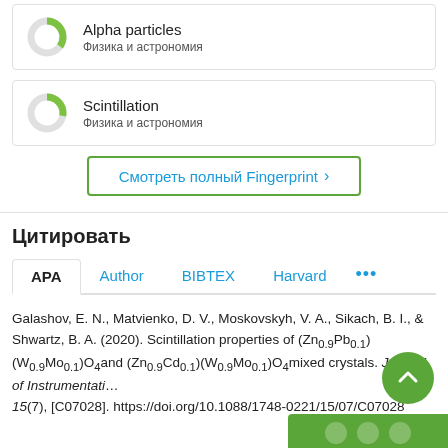[Figure (donut-chart): Donut chart icon for Alpha particles fingerprint keyword, partially green fill]
Alpha particles
Физика и астрономия
[Figure (donut-chart): Donut chart icon for Scintillation fingerprint keyword, partially green fill]
Scintillation
Физика и астрономия
Смотреть полный Fingerprint ›
Цитировать
APA  Author  BIBTEX  Harvard  ...
Galashov, E. N., Matvienko, D. V., Moskovskyh, V. A., Sikach, B. I., & Shwartz, B. A. (2020). Scintillation properties of (Zn0.9Pb0.1)(W0.9Mo0.1)O4and (Zn0.9Cd0.1)(W0.9Mo0.1)O4mixed crystals. Journal of Instrumentation, 15(7), [C07028]. https://doi.org/10.1088/1748-0221/15/07/C07028